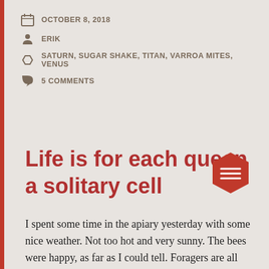OCTOBER 8, 2018
ERIK
SATURN, SUGAR SHAKE, TITAN, VARROA MITES, VENUS
5 COMMENTS
Life is for each queen a solitary cell
I spent some time in the apiary yesterday with some nice weather. Not too hot and very sunny. The bees were happy, as far as I could tell. Foragers are all over our cherry trees, and I saw